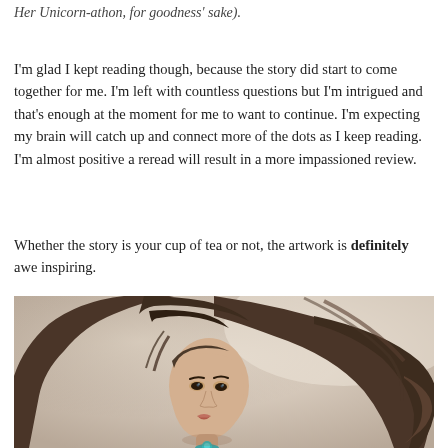Her Unicorn-athon, for goodness' sake).
I'm glad I kept reading though, because the story did start to come together for me. I'm left with countless questions but I'm intrigued and that's enough at the moment for me to want to continue. I'm expecting my brain will catch up and connect more of the dots as I keep reading. I'm almost positive a reread will result in a more impassioned review.
Whether the story is your cup of tea or not, the artwork is definitely awe inspiring.
[Figure (illustration): Illustrated artwork showing a young woman with long flowing dark brown hair, bangs, and a teal necklace, rendered in a dramatic fantasy illustration style with muted beige/grey background.]